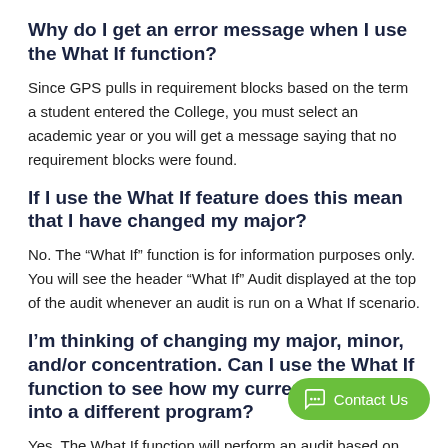Why do I get an error message when I use the What If function?
Since GPS pulls in requirement blocks based on the term a student entered the College, you must select an academic year or you will get a message saying that no requirement blocks were found.
If I use the What If feature does this mean that I have changed my major?
No. The “What If” function is for information purposes only. You will see the header “What If” Audit displayed at the top of the audit whenever an audit is run on a What If scenario.
I’m thinking of changing my major, minor, and/or concentration. Can I use the What If function to see how my current classes fit into a different program?
Yes. The What If function will perform an audit based on the